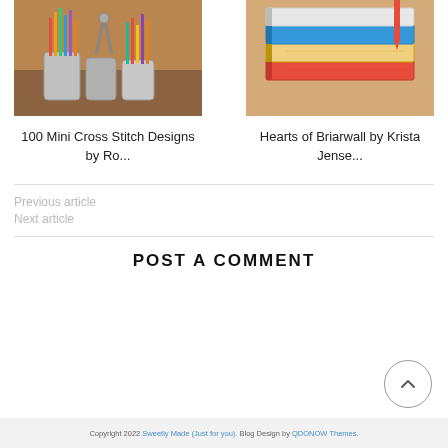[Figure (photo): Photo of colorful pencils, scissors, and art supplies in metal canisters on a wooden surface]
100 Mini Cross Stitch Designs by Ro...
[Figure (photo): Photo of a stack of books with colorful spines and bookmarks]
Hearts of Briarwall by Krista Jense...
Previous article
Next article
POST A COMMENT
Copyright 2022 Sweetly Made (Just for you). Blog Design by QDONOW Themes.